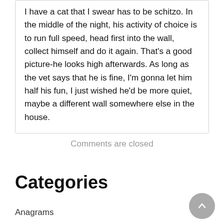I have a cat that I swear has to be schitzo. In the middle of the night, his activity of choice is to run full speed, head first into the wall, collect himself and do it again. That's a good picture-he looks high afterwards. As long as the vet says that he is fine, I'm gonna let him half his fun, I just wished he'd be more quiet, maybe a different wall somewhere else in the house.
Comments are closed
Categories
Anagrams